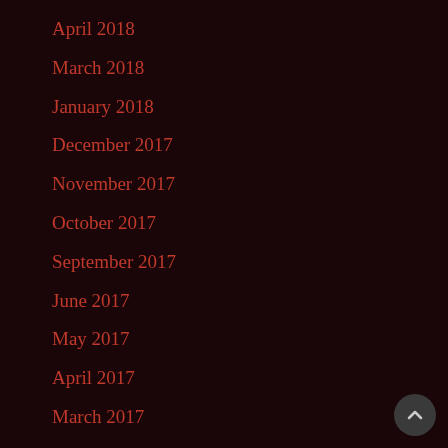April 2018
March 2018
January 2018
December 2017
November 2017
October 2017
September 2017
June 2017
May 2017
April 2017
March 2017
February 2017
January 2017
December 2016
November 2016